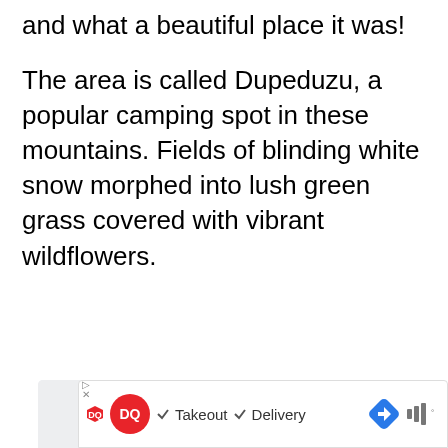and what a beautiful place it was!
The area is called Dupeduzu, a popular camping spot in these mountains. Fields of blinding white snow morphed into lush green grass covered with vibrant wildflowers.
[Figure (photo): A light gray placeholder rectangle for an image of Dupeduzu camping area]
[Figure (infographic): Dairy Queen advertisement banner showing DQ logo, checkmarks for Takeout and Delivery, a blue navigation arrow icon, and a sound/audio icon]
156